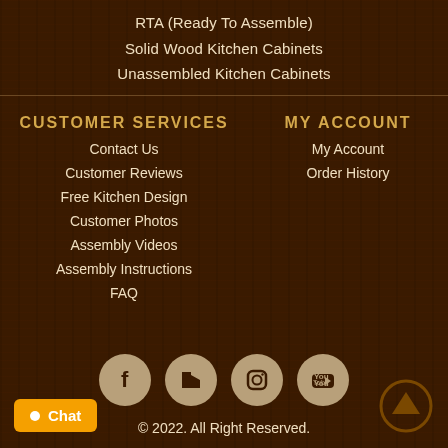RTA (Ready To Assemble)
Solid Wood Kitchen Cabinets
Unassembled Kitchen Cabinets
CUSTOMER SERVICES
Contact Us
Customer Reviews
Free Kitchen Design
Customer Photos
Assembly Videos
Assembly Instructions
FAQ
MY ACCOUNT
My Account
Order History
[Figure (infographic): Social media icons: Facebook, Houzz, Instagram, YouTube — circular tan/khaki buttons]
© 2022. All Right Reserved.